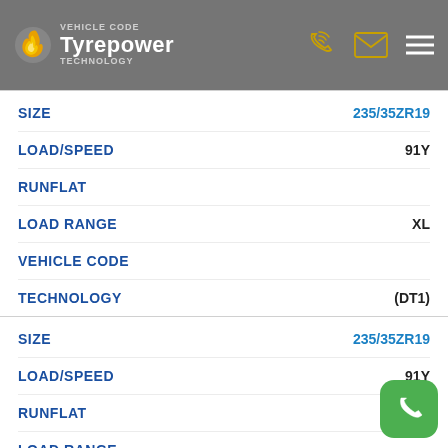VEHICLE CODE Tyrepower TECHNOLOGY
| Field | Value |
| --- | --- |
| SIZE | 235/35ZR19 |
| LOAD/SPEED | 91Y |
| RUNFLAT |  |
| LOAD RANGE | XL |
| VEHICLE CODE |  |
| TECHNOLOGY | (DT1) |
| SIZE | 235/35ZR19 |
| LOAD/SPEED | 91Y |
| RUNFLAT |  |
| LOAD RANGE |  |
| VEHICLE CODE | (MO1) |